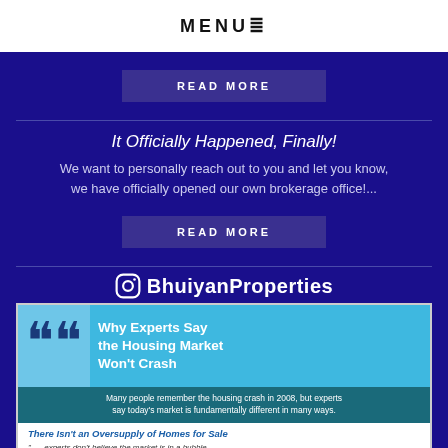MENU≡
READ MORE
It Officially Happened, Finally!
We want to personally reach out to you and let you know, we have officially opened our own brokerage office!...
READ MORE
BhuiyanProperties
[Figure (infographic): Infographic: 'Why Experts Say the Housing Market Won't Crash' with large quote marks, teal header, and subtext about the 2008 housing crash. Bottom section shows 'There Isn't an Oversupply of Homes for Sale' with quote text beginning '...experts don't believe the market is in a bubble or a crash is in the cards... The nation is still']